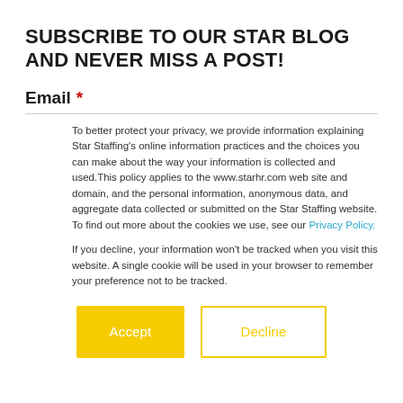SUBSCRIBE TO OUR STAR BLOG AND NEVER MISS A POST!
Email *
To better protect your privacy, we provide information explaining Star Staffing's online information practices and the choices you can make about the way your information is collected and used. This policy applies to the www.starhr.com web site and domain, and the personal information, anonymous data, and aggregate data collected or submitted on the Star Staffing website. To find out more about the cookies we use, see our Privacy Policy.
If you decline, your information won't be tracked when you visit this website. A single cookie will be used in your browser to remember your preference not to be tracked.
Accept
Decline